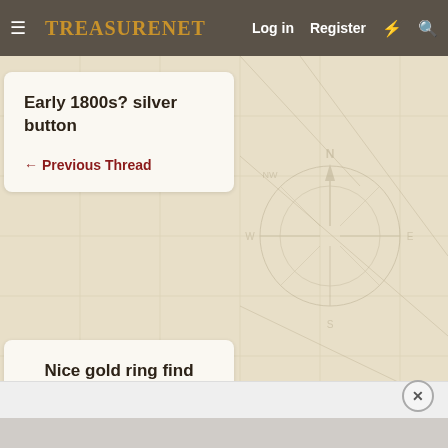TreasureNet — Log in  Register
[Figure (illustration): Background map with compass rose and grid lines in beige/tan tones]
Early 1800s? silver button
← Previous Thread
Nice gold ring find
Next Thread →